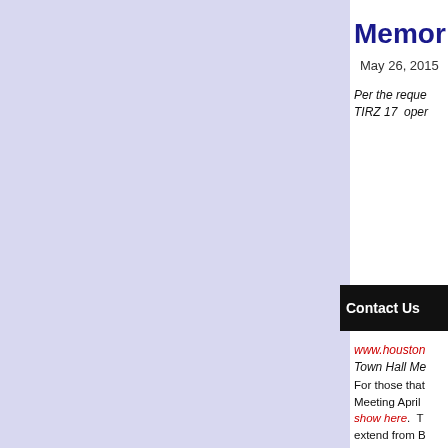Memor
May 26, 2015
Per the reque TIRZ 17  oper
Contact Us
www.housto Town Hall Me and posted o post presents incorporated i Please feel fr comments.
For those that Meeting April show here.  T extend from B sidewalk, a m way, and over applaud TIRZ complete stre infrastructure itself, as durin